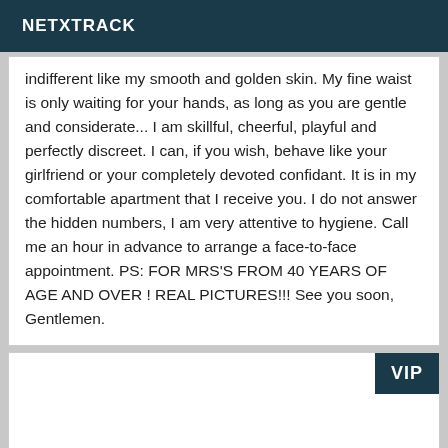NETXTRACK
indifferent like my smooth and golden skin. My fine waist is only waiting for your hands, as long as you are gentle and considerate... I am skillful, cheerful, playful and perfectly discreet. I can, if you wish, behave like your girlfriend or your completely devoted confidant. It is in my comfortable apartment that I receive you. I do not answer the hidden numbers, I am very attentive to hygiene. Call me an hour in advance to arrange a face-to-face appointment. PS: FOR MRS'S FROM 40 YEARS OF AGE AND OVER ! REAL PICTURES!!! See you soon, Gentlemen.
VIP